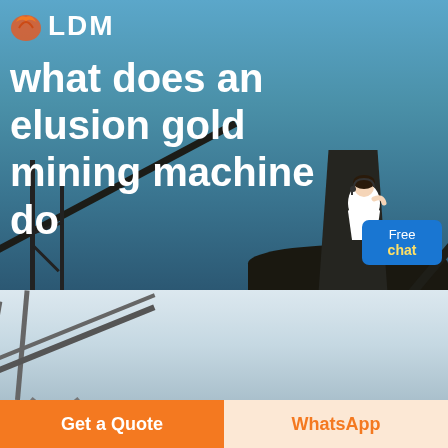[Figure (screenshot): Website hero banner with mining/industrial conveyor belt machinery background image in dusty blue/grey tones. LDM logo with orange hand icon top left. Large white title text overlaying image. Customer service representative figure with Free chat button overlay.]
what does an elusion gold mining machine do
[Figure (photo): Lower partial photo showing industrial conveyor belt structure against light grey sky background]
Get a Quote
WhatsApp